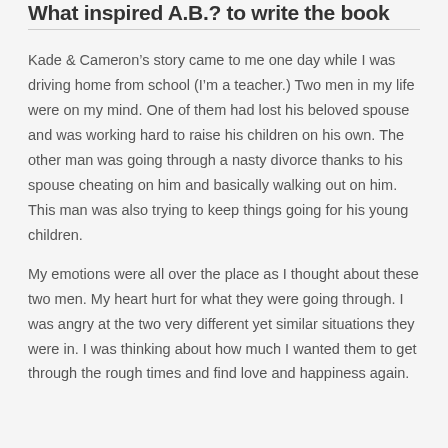What inspired A.B.? to write the book
Kade & Cameron's story came to me one day while I was driving home from school (I'm a teacher.) Two men in my life were on my mind. One of them had lost his beloved spouse and was working hard to raise his children on his own. The other man was going through a nasty divorce thanks to his spouse cheating on him and basically walking out on him. This man was also trying to keep things going for his young children.
My emotions were all over the place as I thought about these two men. My heart hurt for what they were going through. I was angry at the two very different yet similar situations they were in. I was thinking about how much I wanted them to get through the rough times and find love and happiness again.